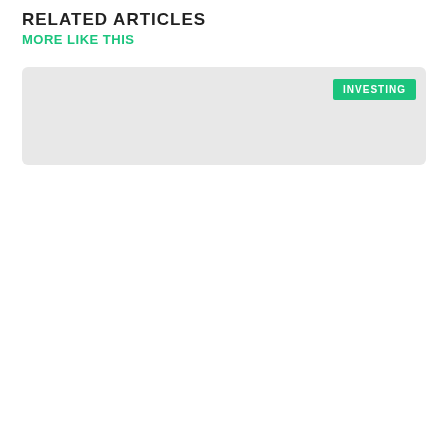RELATED ARTICLES
MORE LIKE THIS
[Figure (photo): Suburban brick house with two-car garage, evergreen trees, autumn foliage, with tag overlays INVESTING and LOANS and overlay title text]
How to Calculate the Opportunity Cost of Buying vs Renting Your Home
[Figure (photo): Second article card with INVESTING tag, partial image visible at bottom of page]